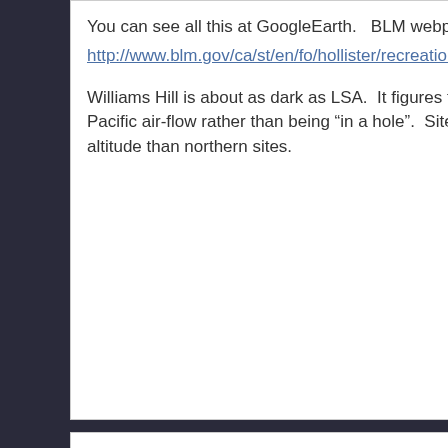You can see all this at GoogleEarth.   BLM webpage:
http://www.blm.gov/ca/st/en/fo/hollister/recreation/williams_hill.h...
Williams Hill is about as dark as LSA.  It figures to have better s... Pacific air-flow rather than being “in a hole”.  Sites at the southe... altitude than northern sites.
Other Sites
Coming soon ….
search here …